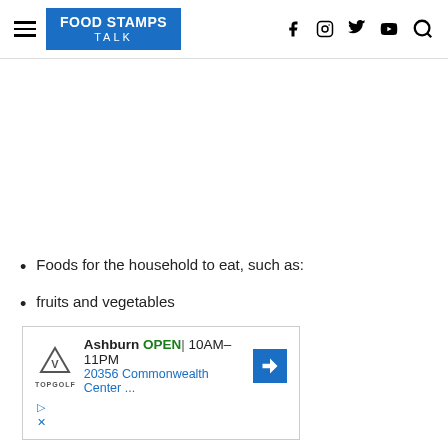FOOD STAMPS TALK
Foods for the household to eat, such as:
fruits and vegetables
[Figure (other): Advertisement for Topgolf Ashburn showing OPEN 10AM-11PM and address 20356 Commonwealth Center...]